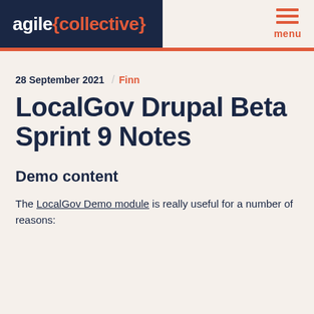agile{collective} menu
28 September 2021 / Finn
LocalGov Drupal Beta Sprint 9 Notes
Demo content
The LocalGov Demo module is really useful for a number of reasons: